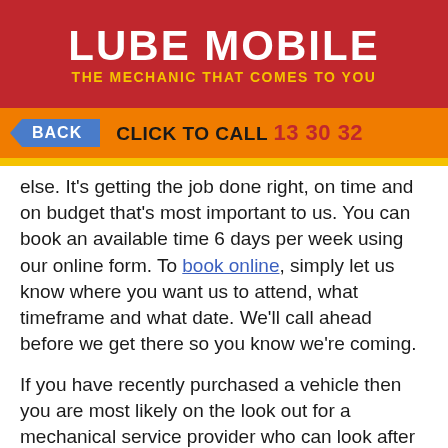LUBE MOBILE — THE MECHANIC THAT COMES TO YOU
BACK   CLICK TO CALL 13 30 32
else. It's getting the job done right, on time and on budget that's most important to us. You can book an available time 6 days per week using our online form. To book online, simply let us know where you want us to attend, what timeframe and what date. We'll call ahead before we get there so you know we're coming.
If you have recently purchased a vehicle then you are most likely on the look out for a mechanical service provider who can look after your regular log book service needs. Log book services on BMW vehicles or JMC vehicles, to name a few, are among the most popular service jobs that we complete. Choosing Lube Mobile means that not only is the Statutory Warranty that your vehicle came with is still valid, it also means that you